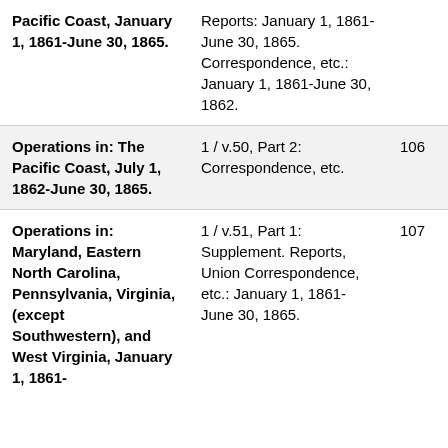| Pacific Coast, January 1, 1861-June 30, 1865. | Reports: January 1, 1861-June 30, 1865. Correspondence, etc.: January 1, 1861-June 30, 1862. |  |  |
| Operations in: The Pacific Coast, July 1, 1862-June 30, 1865. | 1 / v.50, Part 2: Correspondence, etc. | 106 | 3584 |
| Operations in: Maryland, Eastern North Carolina, Pennsylvania, Virginia, (except Southwestern), and West Virginia, January 1, 1861- | 1 / v.51, Part 1: Supplement. Reports, Union Correspondence, etc.: January 1, 1861-June 30, 1865. | 107 | 3585 |